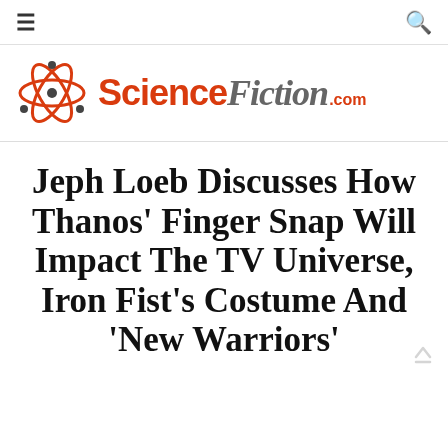≡  🔍
[Figure (logo): ScienceFiction.com logo with atom graphic and stylized text]
Jeph Loeb Discusses How Thanos' Finger Snap Will Impact The TV Universe, Iron Fist's Costume And 'New Warriors'